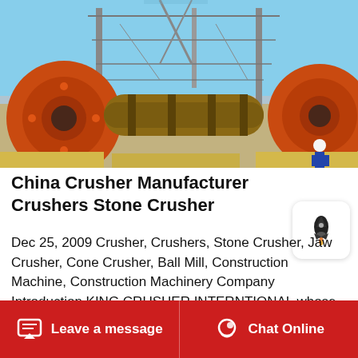[Figure (photo): Industrial construction site showing large orange cylindrical crushing machines (ball mills/rotary kilns) on yellow insulation blocks, with steel scaffolding and cranes in the background, workers visible on right side.]
China Crusher Manufacturer Crushers Stone Crusher
Dec 25, 2009 Crusher, Crushers, Stone Crusher, Jaw Crusher, Cone Crusher, Ball Mill, Construction Machine, Construction Machinery Company Introduction KING CRUSHER INTERNTIONAL whose predecessor is SHAO RUI MACHINE MANUFACTURING CO., LTD was established in
Leave a message   Chat Online